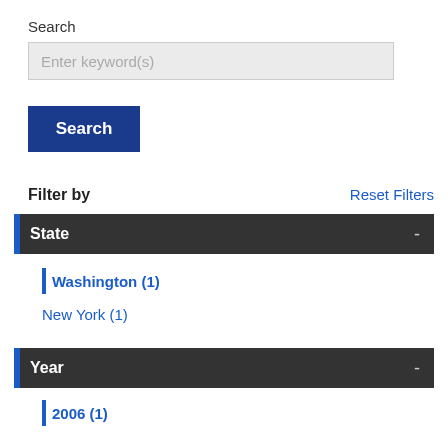Search
Enter keyword(s)
Search
Filter by
Reset Filters
State -
Washington (1)
New York (1)
Year -
2006 (1)